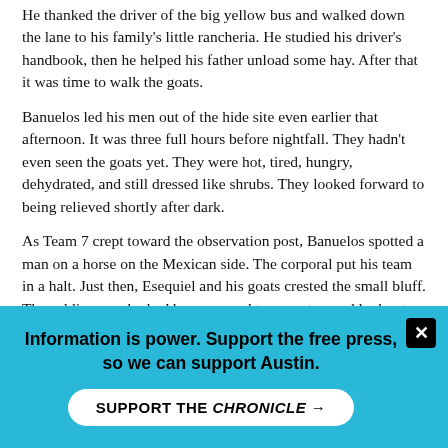He thanked the driver of the big yellow bus and walked down the lane to his family's little rancheria. He studied his driver's handbook, then he helped his father unload some hay. After that it was time to walk the goats.
Banuelos led his men out of the hide site even earlier that afternoon. It was three full hours before nightfall. They hadn't even seen the goats yet. They were hot, tired, hungry, dehydrated, and still dressed like shrubs. They looked forward to being relieved shortly after dark.
As Team 7 crept toward the observation post, Banuelos spotted a man on a horse on the Mexican side. The corporal put his team in a halt. Just then, Esequiel and his goats crested the small bluff. The soldiers -- who had been warned to expect armed lookouts and "unfriendly villagers" -- saw a young man of Latino descent carrying a .22 rifle.
Banuelos whispered into the radio: "We have an armed individual, about 200 meters from us." A time-stamped recording of the radio traffic showed it was 6:05pm. "He's in front of the old fort. He's...
Information is power. Support the free press, so we can support Austin.
SUPPORT THE CHRONICLE →